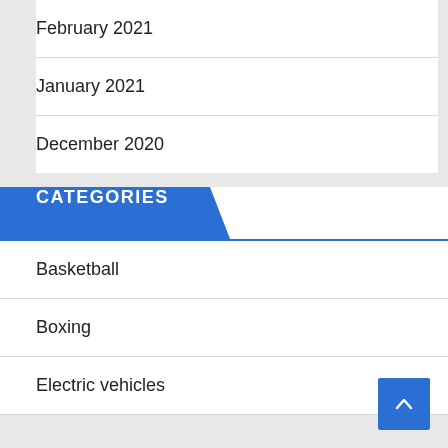February 2021
January 2021
December 2020
CATEGORIES
Basketball
Boxing
Electric vehicles